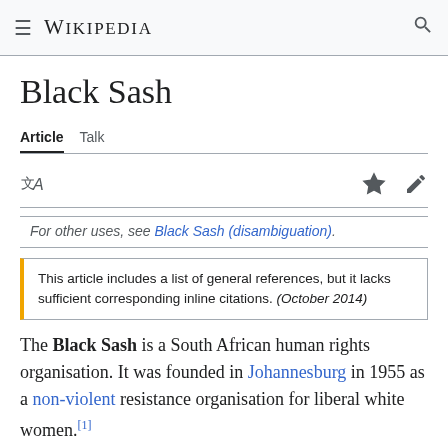Wikipedia
Black Sash
Article  Talk
For other uses, see Black Sash (disambiguation).
This article includes a list of general references, but it lacks sufficient corresponding inline citations. (October 2014)
The Black Sash is a South African human rights organisation. It was founded in Johannesburg in 1955 as a non-violent resistance organisation for liberal white women.[1]
[Figure (photo): Black and white photograph of Black Sash members]